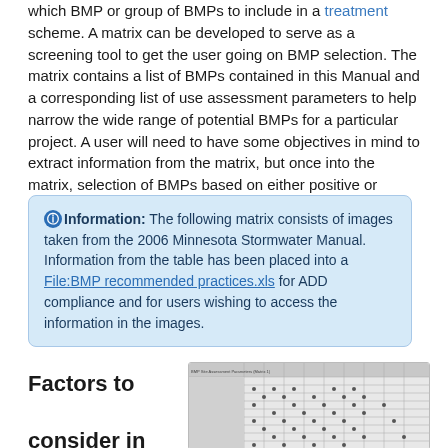which BMP or group of BMPs to include in a treatment scheme. A matrix can be developed to serve as a screening tool to get the user going on BMP selection. The matrix contains a list of BMPs contained in this Manual and a corresponding list of use assessment parameters to help narrow the wide range of potential BMPs for a particular project. A user will need to have some objectives in mind to extract information from the matrix, but once into the matrix, selection of BMPs based on either positive or negative factors will be possible.
Information: The following matrix consists of images taken from the 2006 Minnesota Stormwater Manual. Information from the table has been placed into a File:BMP recommended practices.xls for ADD compliance and for users wishing to access the information in the images.
Factors to consider in
[Figure (table-as-image): A thumbnail image of a BMP selection matrix table from the 2006 Minnesota Stormwater Manual, showing rows and columns of BMPs and assessment parameters with dot indicators.]